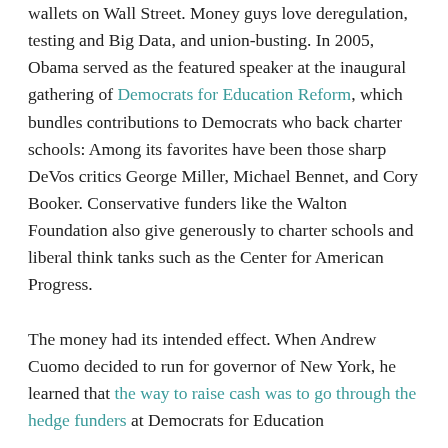wallets on Wall Street. Money guys love deregulation, testing and Big Data, and union-busting. In 2005, Obama served as the featured speaker at the inaugural gathering of Democrats for Education Reform, which bundles contributions to Democrats who back charter schools: Among its favorites have been those sharp DeVos critics George Miller, Michael Bennet, and Cory Booker. Conservative funders like the Walton Foundation also give generously to charter schools and liberal think tanks such as the Center for American Progress.

The money had its intended effect. When Andrew Cuomo decided to run for governor of New York, he learned that the way to raise cash was to go through the hedge funders at Democrats for Education